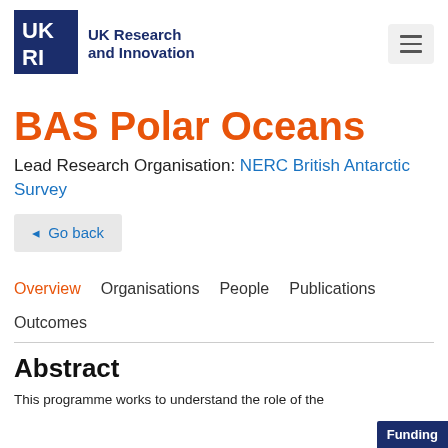UK Research and Innovation
BAS Polar Oceans
Lead Research Organisation: NERC British Antarctic Survey
◄ Go back
Overview   Organisations   People   Publications
Outcomes
Abstract
This programme works to understand the role of the